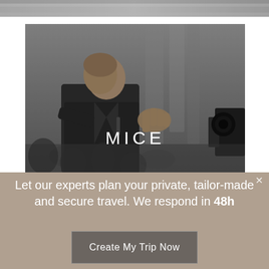[Figure (photo): Partial top strip of a blurred indoor photo, continuing from previous page]
[Figure (photo): Black and white photo of a man in a suit speaking/presenting at an event, gesturing with hands, audience in background, camera visible at right edge. Label 'MICE' overlaid in white text at center.]
Let our experts plan your private, tailor-made and secure travel. We respond in 48h
Create My Trip Now